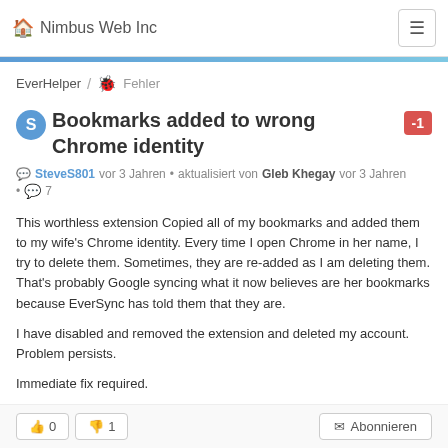Nimbus Web Inc
EverHelper / 🐞 Fehler
Bookmarks added to wrong Chrome identity
SteveS801 vor 3 Jahren • aktualisiert von Gleb Khegay vor 3 Jahren • 💬 7
This worthless extension Copied all of my bookmarks and added them to my wife's Chrome identity. Every time I open Chrome in her name, I try to delete them. Sometimes, they are re-added as I am deleting them. That's probably Google syncing what it now believes are her bookmarks because EverSync has told them that they are.

I have disabled and removed the extension and deleted my account. Problem persists.

Immediate fix required.